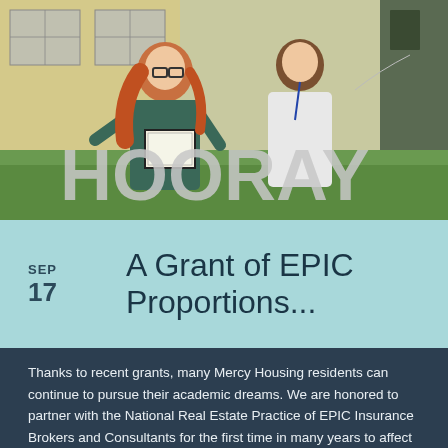[Figure (photo): Two women standing outdoors in front of a building, one holding a framed certificate/diploma, with large silver balloon letters spelling HOORAY in front of them on the grass.]
SEP 17  A Grant of EPIC Proportions...
Thanks to recent grants, many Mercy Housing residents can continue to pursue their academic dreams. We are honored to partner with the National Real Estate Practice of EPIC Insurance Brokers and Consultants for the first time in many years to affect the